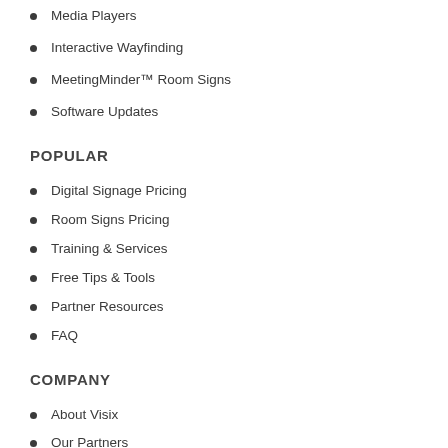Media Players
Interactive Wayfinding
MeetingMinder™ Room Signs
Software Updates
POPULAR
Digital Signage Pricing
Room Signs Pricing
Training & Services
Free Tips & Tools
Partner Resources
FAQ
COMPANY
About Visix
Our Partners